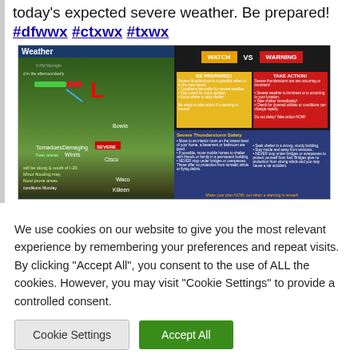today's expected severe weather. Be prepared! #dfwwx #ctxwx #txwx
[Figure (screenshot): Two-panel composite image: left panel shows a weather map with storm tracks, tornado and damaging winds risk areas, and text about conditions; right panel shows a WATCH vs WARNING infographic and Severe Thunderstorm Safety tips.]
We use cookies on our website to give you the most relevant experience by remembering your preferences and repeat visits. By clicking "Accept All", you consent to the use of ALL the cookies. However, you may visit "Cookie Settings" to provide a controlled consent.